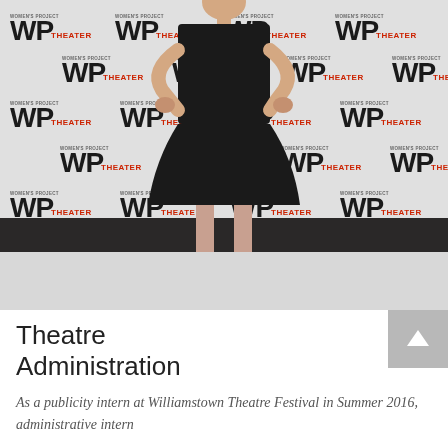[Figure (photo): Person wearing a black strapless dress posing in front of a WP Theater (Women's Project Theater) branded step-and-repeat backdrop. The person has hands on hips and is wearing red shoes. Dark floor is visible at bottom.]
Theatre Administration
As a publicity intern at Williamstown Theatre Festival in Summer 2016, administrative intern